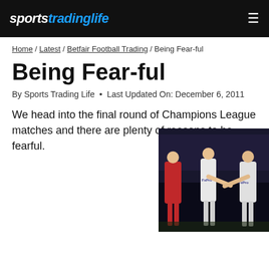sportstradinglife
Home / Latest / Betfair Football Trading / Being Fear-ful
Being Fear-ful
By Sports Trading Life • Last Updated On: December 6, 2011
We head into the final round of Champions League matches and there are plenty of reasons to be fearful.
[Figure (photo): Football match action photo showing players in white Fulham kit (FxPro sponsor) and red opposing team kit on a dark pitch with crowd in background]